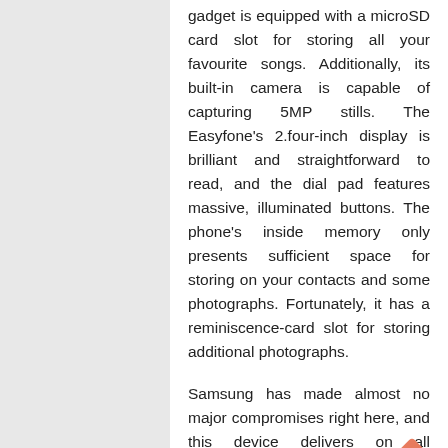gadget is equipped with a microSD card slot for storing all your favourite songs. Additionally, its built-in camera is capable of capturing 5MP stills. The Easyfone's 2.four-inch display is brilliant and straightforward to read, and the dial pad features massive, illuminated buttons. The phone's inside memory only presents sufficient space for storing on your contacts and some photographs. Fortunately, it has a reminiscence-card slot for storing additional photographs.
Samsung has made almost no major compromises right here, and this device delivers on all parameters, starting from aesthetics to digicam output and raw performance. The iPhone 12 is a 6.1-inch flagship that packs the same main and ultra-extensive cameras as the Pro variants.